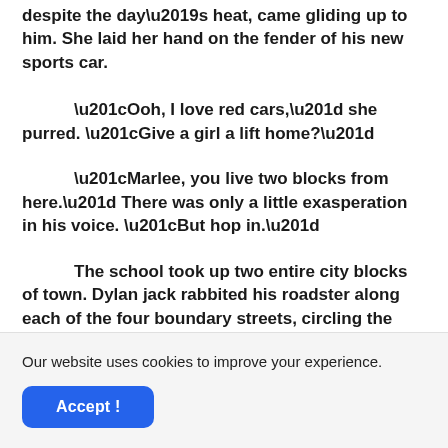despite the day’s heat, came gliding up to him. She laid her hand on the fender of his new sports car.
“Ooh, I love red cars,” she purred. “Give a girl a lift home?”
“Marlee, you live two blocks from here.” There was only a little exasperation in his voice. “But hop in.”
The school took up two entire city blocks of town. Dylan jack rabbited his roadster along each of the four boundary streets, circling the school, working through the gears, trying to get up to fourth before slamming on the brakes for the next stop sign. Marlee squealed her
Our website uses cookies to improve your experience.
Accept !